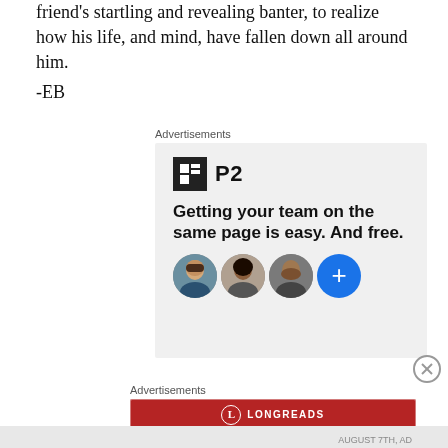friend's startling and revealing banter, to realize how his life, and mind, have fallen down all around him.
-EB
Advertisements
[Figure (other): P2 advertisement: logo with 'P2' text, tagline 'Getting your team on the same page is easy. And free.' with circular avatar photos and a blue plus button.]
Advertisements
[Figure (other): Longreads advertisement on red background: 'The best stories on the web – ours, and everyone else's.']